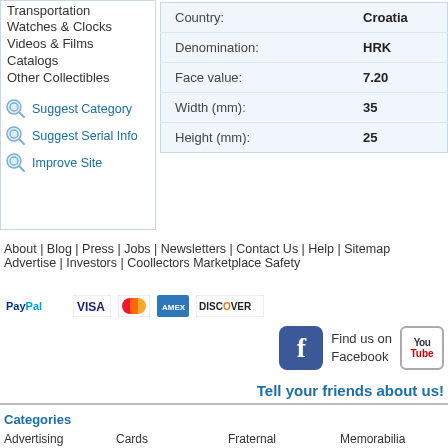Transportation
Watches & Clocks
Videos & Films
Catalogs
Other Collectibles
Suggest Category
Suggest Serial Info
Improve Site
| Field | Value |
| --- | --- |
| Country: | Croatia |
| Denomination: | HRK |
| Face value: | 7.20 |
| Width (mm): | 35 |
| Height (mm): | 25 |
About | Blog | Press | Jobs | Newsletters | Contact Us | Help | Sitemap
Advertise | Investors | Coollectors Marketplace Safety
[Figure (logo): PayPal, VISA, Mastercard, American Express, DISCOVER payment logos]
[Figure (logo): Find us on Facebook icon and YouTube icon]
Tell your friends about us!
Categories
Advertising, Antiques, Arts, Autographs, Bank Drafts, Banknotes, Books | Cards, Cars, Cigarettes, Clothing, Coins, Comics, Crafts | Fraternal, Glass, Holidays, Household, Iron, Jewelry, Labels | Memorabilia, Militaria, Minerals, Music, Patches, Phone Cards, Photography